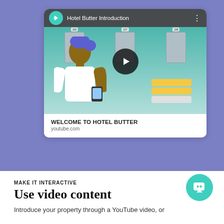[Figure (screenshot): Video card embedded in a purple background showing a YouTube-style video preview with title 'Hotel Butter Introduction', a play button overlay, and a hotel scene with a person holding a device. Below the video: 'WELCOME TO HOTEL BUTTER' and 'youtube.com'.]
MAKE IT INTERACTIVE
Use video content
Introduce your property through a YouTube video, or